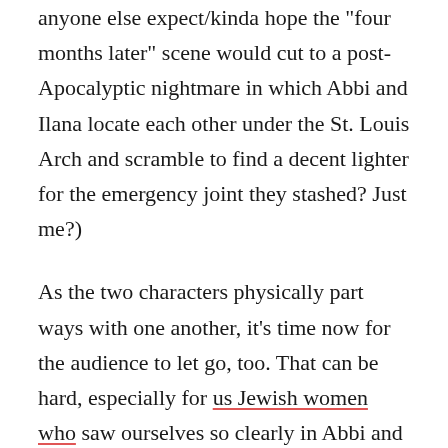anyone else expect/kinda hope the 'four months later' scene would cut to a post-Apocalyptic nightmare in which Abbi and Ilana locate each other under the St. Louis Arch and scramble to find a decent lighter for the emergency joint they stashed? Just me?)
As the two characters physically part ways with one another, it's time now for the audience to let go, too. That can be hard, especially for us Jewish women who saw ourselves so clearly in Abbi and Ilana, who are so grateful for some of the most Jewish episodes in television history, like the recent one featuring a Holocaust survivor, or their trip to a retirement home in Florida, or the many other Jewish moments (I mean, those EARRINGS). On the bridge, the two confess that